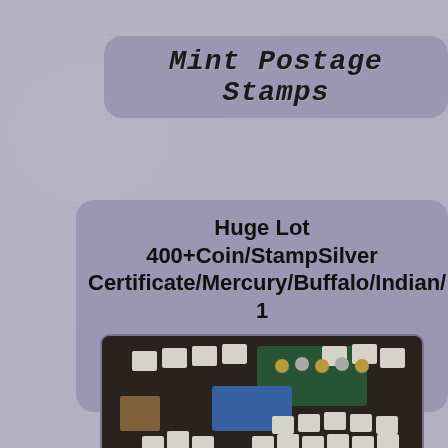Mint Postage Stamps
Huge Lot 400+Coin/StampSilver Certificate/Mercury/Buffalo/Indian/1
[Figure (photo): Photograph of a large lot of coins and stamps spread out on a dark surface, showing hundreds of coin holders, stamp books, currency notes, and coin sets.]